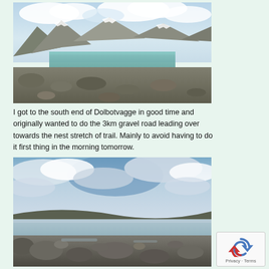[Figure (photo): Landscape photo of a glacial lake surrounded by rocky terrain and mountains with snow patches under a partly cloudy sky]
I got to the south end of Dolbotvagge in good time and originally wanted to do the 3km gravel road leading over towards the nest stretch of trail. Mainly to avoid having to do it first thing in the morning tomorrow.
[Figure (photo): Landscape photo of a calm lake reflecting a cloudy sky with rocky foreground and gentle hills in the background]